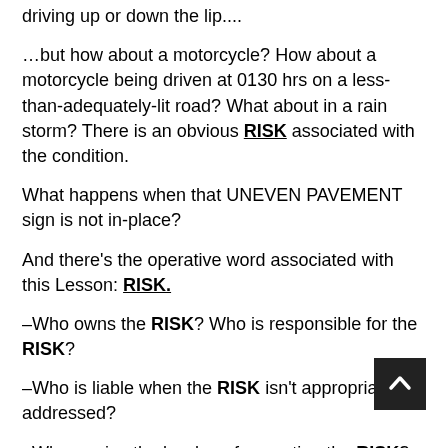driving up or down the lip....
…but how about a motorcycle? How about a motorcycle being driven at 0130 hrs on a less-than-adequately-lit road? What about in a rain storm? There is an obvious RISK associated with the condition.
What happens when that UNEVEN PAVEMENT sign is not in-place?
And there's the operative word associated with this Lesson: RISK.
–Who owns the RISK? Who is responsible for the RISK?
–Who is liable when the RISK isn't appropriately addressed?
–Who carries the burden of accepting the RISK?